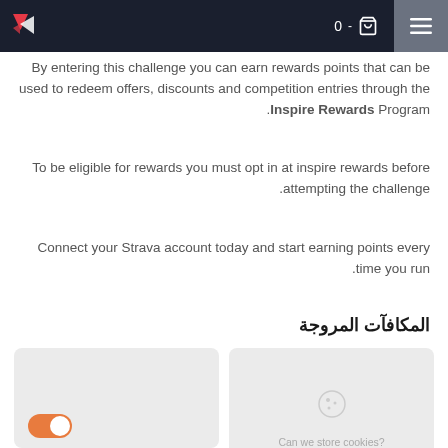0 - [cart icon] [menu icon]
By entering this challenge you can earn rewards points that can be used to redeem offers, discounts and competition entries through the Inspire Rewards Program.
To be eligible for rewards you must opt in at inspire rewards before attempting the challenge.
Connect your Strava account today and start earning points every time you run.
المكافآت المروجة
[Figure (screenshot): Two grey placeholder cards at the bottom of the page. Left card has an orange toggle switch. Right card shows a cookie consent prompt with text 'Can we store cookies?']